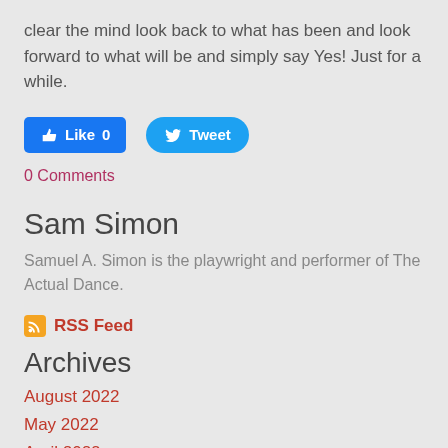clear the mind look back to what has been and look forward to what will be and simply say Yes!  Just for a while.
[Figure (screenshot): Facebook Like button (blue, showing 'Like 0') and Twitter Tweet button (light blue, rounded)]
0 Comments
Sam Simon
Samuel A. Simon is the playwright and performer of The Actual Dance.
RSS Feed
Archives
August 2022
May 2022
April 2022
March 2022
February 2022